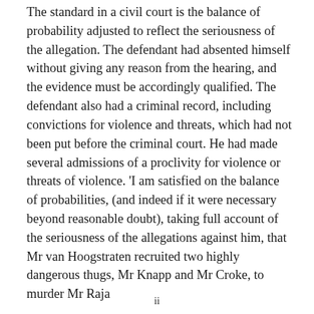The standard in a civil court is the balance of probability adjusted to reflect the seriousness of the allegation. The defendant had absented himself without giving any reason from the hearing, and the evidence must be accordingly qualified. The defendant also had a criminal record, including convictions for violence and threats, which had not been put before the criminal court. He had made several admissions of a proclivity for violence or threats of violence. 'I am satisfied on the balance of probabilities, (and indeed if it were necessary beyond reasonable doubt), taking full account of the seriousness of the allegations against him, that Mr van Hoogstraten recruited two highly dangerous thugs, Mr Knapp and Mr Croke, to murder Mr Raja
ii